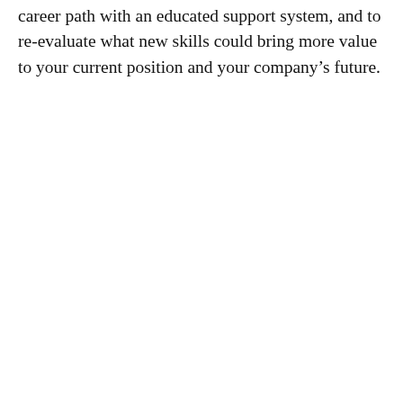career path with an educated support system, and to re-evaluate what new skills could bring more value to your current position and your company's future.